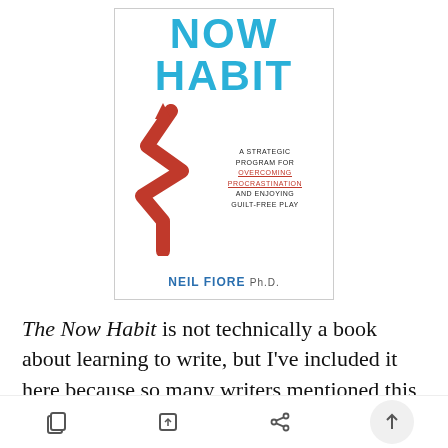[Figure (illustration): Book cover of 'The Now Habit' by Neil Fiore Ph.D. featuring large blue text 'NOW HABIT', a red zigzag arrow pointing upward, and subtitle 'A Strategic Program for Overcoming Procrastination and Enjoying Guilt-Free Play']
The Now Habit is not technically a book about learning to write, but I've included it here because so many writers mentioned this book to me. It explores the psycology of procrastination as it relates to tasks like writing.